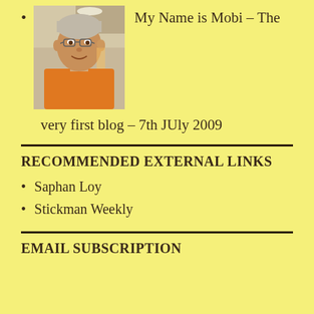My Name is Mobi – The very first blog – 7th JUly 2009
[Figure (photo): Photo of a middle-aged man wearing an orange shirt, smiling, in what appears to be a shopping mall or indoor venue]
RECOMMENDED EXTERNAL LINKS
Saphan Loy
Stickman Weekly
EMAIL SUBSCRIPTION